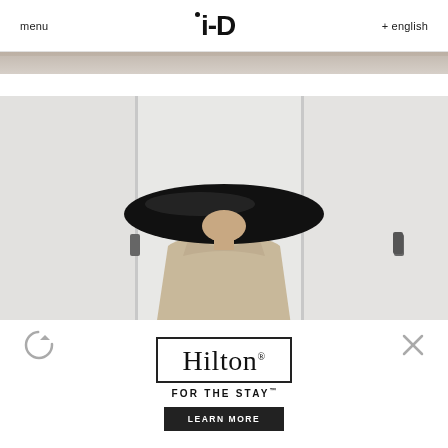menu  i-D  + english
[Figure (photo): Thin horizontal strip of fabric/textile in beige-gray tones at top]
[Figure (photo): Fashion editorial photo: person wearing a large black sculptural hat obscuring their face, dressed in a beige high-collar coat, standing in front of white vertical panels]
[Figure (logo): Hilton hotel logo with text 'Hilton FOR THE STAY' inside a rectangular border, with a LEARN MORE button below]